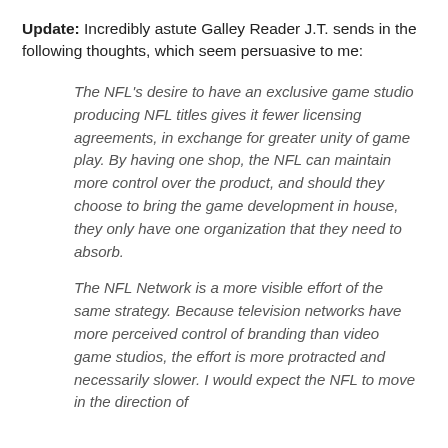Update: Incredibly astute Galley Reader J.T. sends in the following thoughts, which seem persuasive to me:
The NFL's desire to have an exclusive game studio producing NFL titles gives it fewer licensing agreements, in exchange for greater unity of game play. By having one shop, the NFL can maintain more control over the product, and should they choose to bring the game development in house, they only have one organization that they need to absorb.
The NFL Network is a more visible effort of the same strategy. Because television networks have more perceived control of branding than video game studios, the effort is more protracted and necessarily slower. I would expect the NFL to move in the direction of